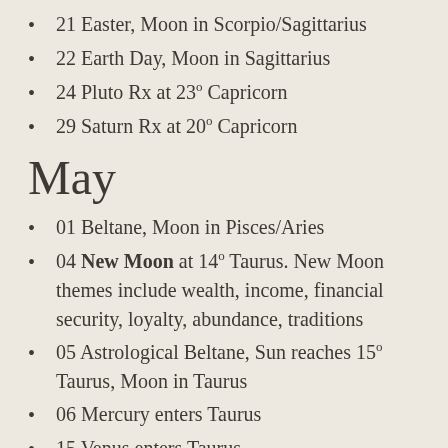21 Easter, Moon in Scorpio/Sagittarius
22 Earth Day, Moon in Sagittarius
24 Pluto Rx at 23° Capricorn
29 Saturn Rx at 20° Capricorn
May
01 Beltane, Moon in Pisces/Aries
04 New Moon at 14° Taurus. New Moon themes include wealth, income, financial security, loyalty, abundance, traditions
05 Astrological Beltane, Sun reaches 15° Taurus, Moon in Taurus
06 Mercury enters Taurus
15 Venus enters Taurus
18 Full Moon at 27° Scorpio. Full Moon themes include bringing balances to issues regarding my money/your money, my stuff/your stuff.